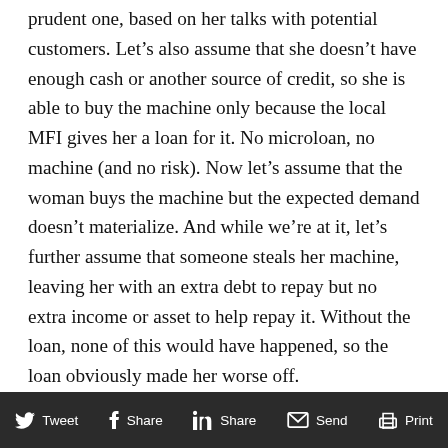prudent one, based on her talks with potential customers. Let's also assume that she doesn't have enough cash or another source of credit, so she is able to buy the machine only because the local MFI gives her a loan for it. No microloan, no machine (and no risk). Now let's assume that the woman buys the machine but the expected demand doesn't materialize. And while we're at it, let's further assume that someone steals her machine, leaving her with an extra debt to repay but no extra income or asset to help repay it. Without the loan, none of this would have happened, so the loan obviously made her worse off.
Tweet  Share  Share  Send  Print